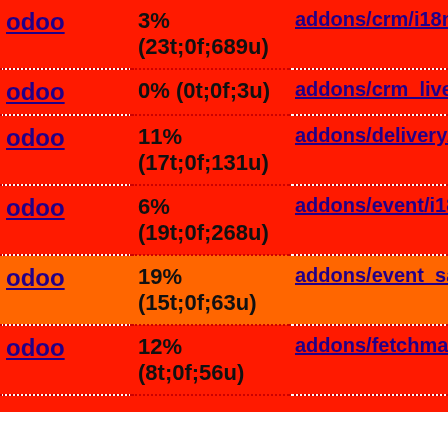| Source | Percentage | Path |
| --- | --- | --- |
| odoo | 3% (23t;0f;689u) | addons/crm/i18n/es_DO.po |
| odoo | 0% (0t;0f;3u) | addons/crm_livechat/i18n/e |
| odoo | 11% (17t;0f;131u) | addons/delivery/i18n/es_D |
| odoo | 6% (19t;0f;268u) | addons/event/i18n/es_DO. |
| odoo | 19% (15t;0f;63u) | addons/event_sale/i18n/es |
| odoo | 12% (8t;0f;56u) | addons/fetchmail/i18n/es_ |